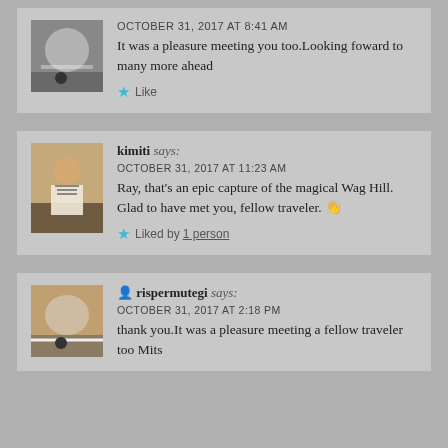[Figure (photo): Avatar photo showing a figure on a road with a large ball]
OCTOBER 31, 2017 AT 8:41 AM
It was a pleasure meeting you too.Looking foward to many more ahead
Like
[Figure (photo): Avatar photo of kimiti standing indoors in a striped shirt]
kimiti says:
OCTOBER 31, 2017 AT 11:23 AM
Ray, that's an epic capture of the magical Wag Hill. Glad to have met you, fellow traveler. 👋
Liked by 1 person
[Figure (photo): Avatar photo of rispermutegi on a road]
rispermutegi says:
OCTOBER 31, 2017 AT 2:18 PM
thank you.It was a pleasure meeting a fellow traveler too Mits